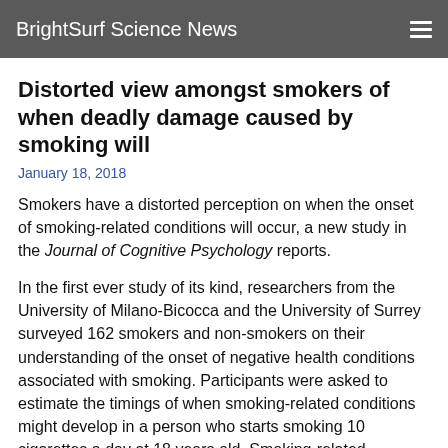BrightSurf Science News
Distorted view amongst smokers of when deadly damage caused by smoking will
January 18, 2018
Smokers have a distorted perception on when the onset of smoking-related conditions will occur, a new study in the Journal of Cognitive Psychology reports.
In the first ever study of its kind, researchers from the University of Milano-Bicocca and the University of Surrey surveyed 162 smokers and non-smokers on their understanding of the onset of negative health conditions associated with smoking. Participants were asked to estimate the timings of when smoking-related conditions might develop in a person who starts smoking 10 cigarettes a day at 18 years old. Smoking-related conditions were categorised